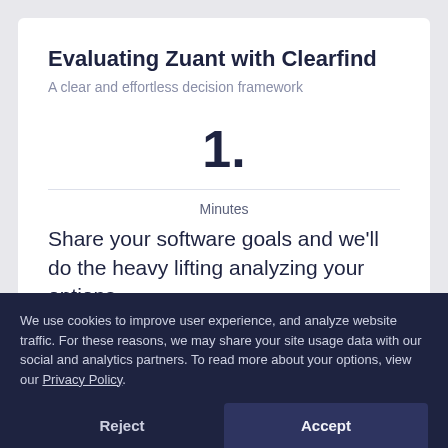Evaluating Zuant with Clearfind
A clear and effortless decision framework
1.
Minutes
Share your software goals and we’ll do the heavy lifting analyzing your options.
2.
We use cookies to improve user experience, and analyze website traffic. For these reasons, we may share your site usage data with our social and analytics partners. To read more about your options, view our Privacy Policy.
Reject
Accept